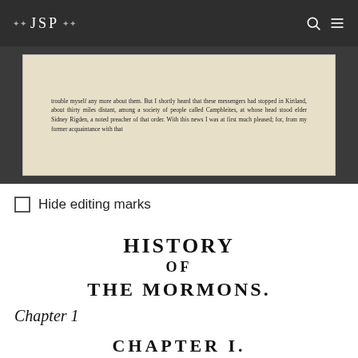JSP
[Figure (photo): Scanned manuscript page showing handwritten/typeset historical text about messengers stopping in Kirtland, among Campbleites, with elder Sidney Rigdon mentioned.]
☐ Hide editing marks
HISTORY
OF
THE MORMONS.
Chapter 1
CHAPTER I.